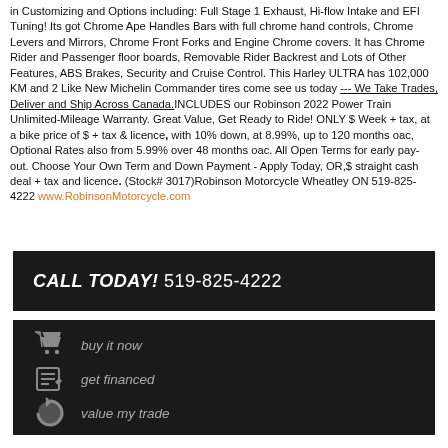in Customizing and Options including: Full Stage 1 Exhaust, Hi-flow Intake and EFI Tuning! Its got Chrome Ape Handles Bars with full chrome hand controls, Chrome Levers and Mirrors, Chrome Front Forks and Engine Chrome covers. It has Chrome Rider and Passenger floor boards, Removable Rider Backrest and Lots of Other Features, ABS Brakes, Security and Cruise Control. This Harley ULTRA has 102,000 KM and 2 Like New Michelin Commander tires come see us today --- We Take Trades, Deliver and Ship Across Canada. INCLUDES our Robinson 2022 Power Train Unlimited-Mileage Warranty. Great Value, Get Ready to Ride! ONLY $ Week + tax, at a bike price of $ + tax & licence, with 10% down, at 8.99%, up to 120 months oac, Optional Rates also from 5.99% over 48 months oac. All Open Terms for early pay-out. Choose Your Own Term and Down Payment - Apply Today, OR,$ straight cash deal + tax and licence. (Stock# 3017)Robinson Motorcycle Wheatley ON 519-825-4222 www.RobinsonMotorcycle.com
CALL TODAY! 519-825-4222
buy it now
get financed
value my trade